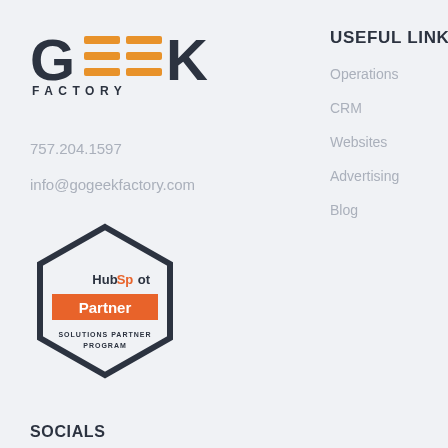[Figure (logo): Geek Factory logo with orange horizontal bar letters in GEK and dark text FACTORY below]
757.204.1597
info@gogeekfactory.com
[Figure (logo): HubSpot Partner Solutions Partner Program hexagon badge]
SOCIALS
Facebook
USEFUL LINKS
Operations
CRM
Websites
Advertising
Blog